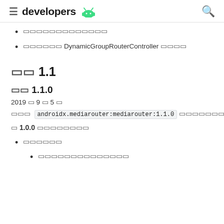≡ developers 🤖
□□□□□□□□□□□□□
□□□□□□ DynamicGroupRouterController □□□□
□□ 1.1
□□ 1.1.0
2019 □ 9 □ 5 □
□□□  androidx.mediarouter:mediarouter:1.1.0  □□□□□□□□□□□□□□□□□
□ 1.0.0 □□□□□□□□
□□□□□□
□□□□□□□□□□□□□□